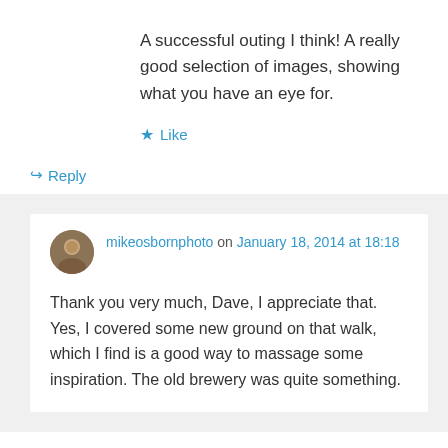A successful outing I think! A really good selection of images, showing what you have an eye for.
★ Like
↪ Reply
mikeosbornphoto on January 18, 2014 at 18:18
Thank you very much, Dave, I appreciate that. Yes, I covered some new ground on that walk, which I find is a good way to massage some inspiration. The old brewery was quite something.